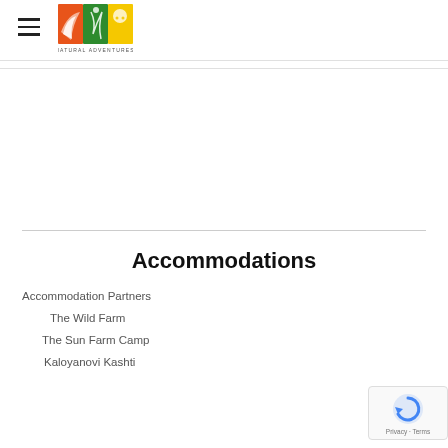Gabi Tours Natural Adventures (logo and hamburger menu)
Accommodations
Accommodation Partners
The Wild Farm
The Sun Farm Camp
Kaloyanovi Kashti
[Figure (logo): reCAPTCHA privacy badge with circular arrow logo, 'Privacy · Terms' text]